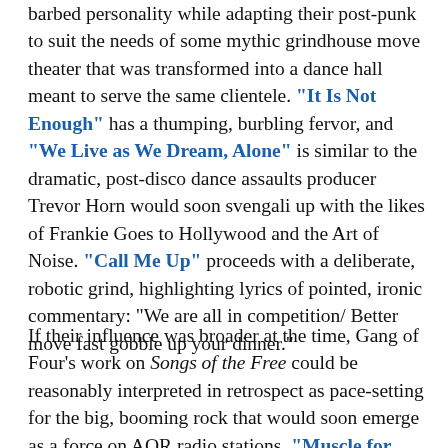barbed personality while adapting their post-punk to suit the needs of some mythic grindhouse move theater that was transformed into a dance hall meant to serve the same clientele. "It Is Not Enough" has a thumping, burbling fervor, and "We Live as We Dream, Alone" is similar to the dramatic, post-disco dance assaults producer Trevor Horn would soon svengali up with the likes of Frankie Goes to Hollywood and the Art of Noise. "Call Me Up" proceeds with a deliberate, robotic grind, highlighting lyrics of pointed, ironic commentary: “We are all in competition/ Better move fast gobble up your dinner.”
If their influence was broader at the time, Gang of Four’s work on Songs of the Free could be reasonably interpreted in retrospect as pace-setting for the big, booming rock that would soon emerge as a force on AOR radio stations. "Muscle for Brains"